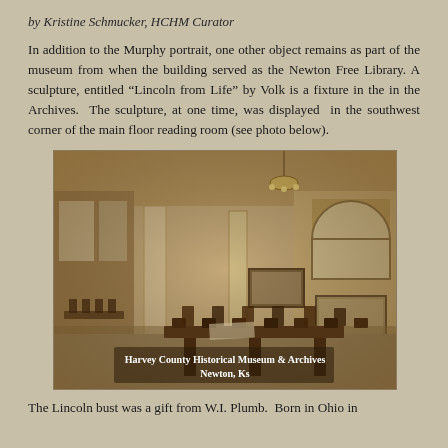by Kristine Schmucker, HCHM Curator
In addition to the Murphy portrait, one other object remains as part of the museum from when the building served as the Newton Free Library. A sculpture, entitled “Lincoln from Life” by Volk is a fixture in the in the Archives.  The sculpture, at one time, was displayed  in the southwest corner of the main floor reading room (see photo below).
[Figure (photo): Sepia-toned historical interior photograph of the Newton Free Library reading room showing tables, chairs, columns, a chandelier, framed artwork on walls, and an arched window/display case. Overlay text reads 'Harvey County Historical Museum & Archives Newton, Ks']
The Lincoln bust was a gift from W.I. Plumb.  Born in Ohio in